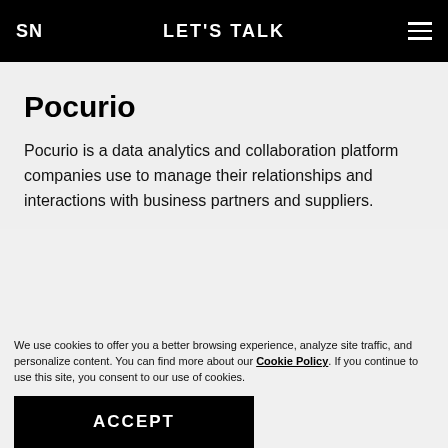SN   LET'S TALK   ☰
Pocurio
Pocurio is a data analytics and collaboration platform companies use to manage their relationships and interactions with business partners and suppliers.
Tech Stack:
We use cookies to offer you a better browsing experience, analyze site traffic, and personalize content. You can find more about our Cookie Policy. If you continue to use this site, you consent to our use of cookies.
ACCEPT